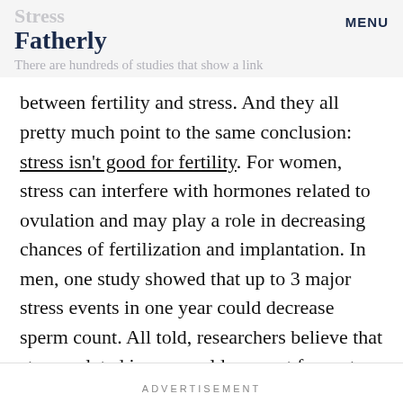Stress
Fatherly
MENU
There are hundreds of studies that show a link
between fertility and stress. And they all pretty much point to the same conclusion: stress isn't good for fertility. For women, stress can interfere with hormones related to ovulation and may play a role in decreasing chances of fertilization and implantation. In men, one study showed that up to 3 major stress events in one year could decrease sperm count. All told, researchers believe that stress-related issues could account for up to 30 percent of problems with infertility.
ADVERTISEMENT